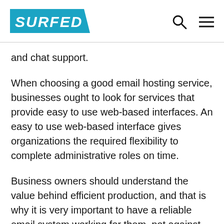SURFED
and chat support.
When choosing a good email hosting service, businesses ought to look for services that provide easy to use web-based interfaces. An easy to use web-based interface gives organizations the required flexibility to complete administrative roles on time.
Business owners should understand the value behind efficient production, and that is why it is very important to have a reliable email system working for them, not against them. Business